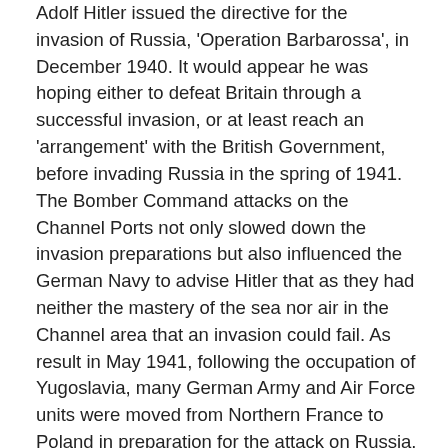Adolf Hitler issued the directive for the invasion of Russia, 'Operation Barbarossa', in December 1940. It would appear he was hoping either to defeat Britain through a successful invasion, or at least reach an 'arrangement' with the British Government, before invading Russia in the spring of 1941. The Bomber Command attacks on the Channel Ports not only slowed down the invasion preparations but also influenced the German Navy to advise Hitler that as they had neither the mastery of the sea nor air in the Channel area that an invasion could fail. As result in May 1941, following the occupation of Yugoslavia, many German Army and Air Force units were moved from Northern France to Poland in preparation for the attack on Russia. Although the plans for the invasion of Britain were not officially abandoned they did in fact peter out and the bombing of Britain sharply declined.
Bomber Command continued to carry out frequent attacks, although with a relatively small number of